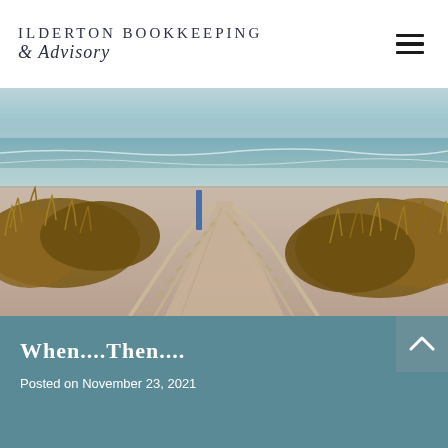ILDERTON BOOKKEEPING & Advisory
[Figure (photo): Beach boardwalk path through sand dunes with wooden railing leading to ocean in background]
When....Then....
Posted on November 23, 2021